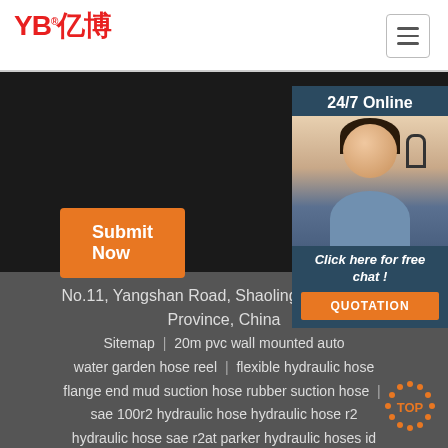[Figure (logo): YB亿博 company logo in red with registered trademark symbol]
[Figure (infographic): Hamburger menu button (three horizontal lines) in top right corner]
[Figure (photo): Dark hero/form submission section with Submit Now orange button and 24/7 Online chat panel showing woman with headset]
No.11, Yangshan Road, Shaoling District, Luoyang Province, China
Sitemap | 20m pvc wall mounted auto water garden hose reel | flexible hydraulic hose flange end mud suction hose rubber suction hose | sae 100r2 hydraulic hose hydraulic hose r2 hydraulic hose sae r2at parker hydraulic hoses id